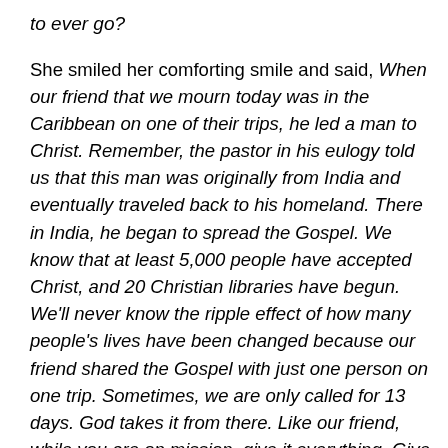to ever go?
She smiled her comforting smile and said, When our friend that we mourn today was in the Caribbean on one of their trips, he led a man to Christ.  Remember, the pastor in his eulogy told us that this man was originally from India and eventually traveled back to his homeland.  There in India, he began to spread the Gospel.  We know that at least 5,000 people have accepted Christ, and 20 Christian libraries have begun.  We'll never know the ripple effect of how many people's lives have been changed because our friend shared the Gospel with just one person on one trip.  Sometimes, we are only called for 13 days.  God takes it from there.  Like our friend, while you are on mission, give it everything.  Give yourself completely to the task – even if it is to just one.  This is all the time God is giving you to be there. Use it wisely.